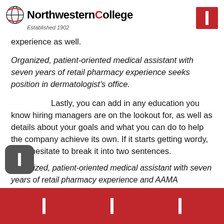Northwestern College Established 1902
experience as well.
Organized, patient-oriented medical assistant with seven years of retail pharmacy experience seeks position in dermatologist’s office.
Lastly, you can add in any education you know hiring managers are on the lookout for, as well as details about your goals and what you can do to help the company achieve its own. If it starts getting wordy, don’t hesitate to break it into two sentences.
Organized, patient-oriented medical assistant with seven years of retail pharmacy experience and AAMA